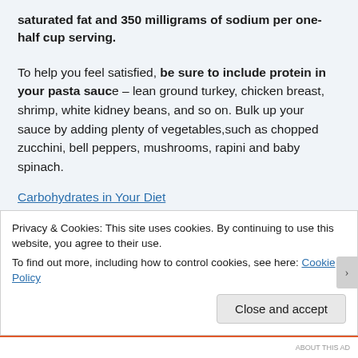saturated fat and 350 milligrams of sodium per one-half cup serving.
To help you feel satisfied, be sure to include protein in your pasta sauce – lean ground turkey, chicken breast, shrimp, white kidney beans, and so on. Bulk up your sauce by adding plenty of vegetables,such as chopped zucchini, bell peppers, mushrooms, rapini and baby spinach.
Carbohydrates in Your Diet
When deciding what carbohydrates to eat, don't worry about whether or not they are classified as simple or complex...
Privacy & Cookies: This site uses cookies. By continuing to use this website, you agree to their use.
To find out more, including how to control cookies, see here: Cookie Policy
Close and accept